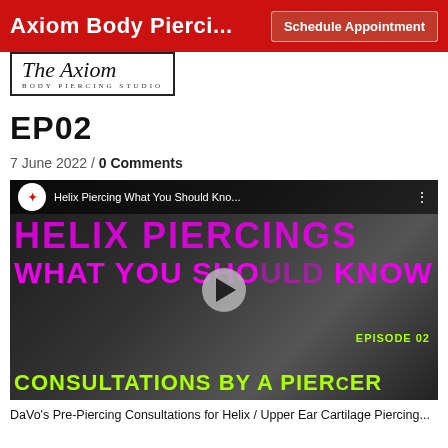Axiom Body Pierci... | Schedule Appointment
[Figure (logo): The Axiom Body Piercing Studio logo in a rectangular border with italic script lettering]
EP02
7 June 2022 / 0 Comments
[Figure (screenshot): YouTube video thumbnail for 'Helix Piercing What You Should Kno...' showing large magenta text 'HELIX PIERCINGS WHAT YOU SHOULD KNOW' and green text 'CONSULTATIONS BY A PIERCER EPISODE 02' overlaid on a black and white photo of a woman's ear with piercings. A play button is centered on the image.]
DaVo's Pre-Piercing Consultations for Helix / Upper Ear Cartilage Piercing...